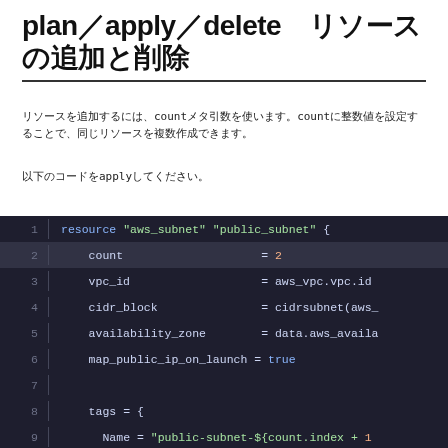plan／apply／delete　リソースの追加と削除
リソースを追加するには、countメタ引数を使います。countに整数値を設定することで、同じリソースを複数作成できます。
以下のコードをapplyしてください。
[Figure (screenshot): Code block showing Terraform resource definition for aws_subnet public_subnet with count=2, vpc_id, cidr_block, availability_zone, map_public_ip_on_launch=true, and tags with Name set to public-subnet-${count.index + 1}]